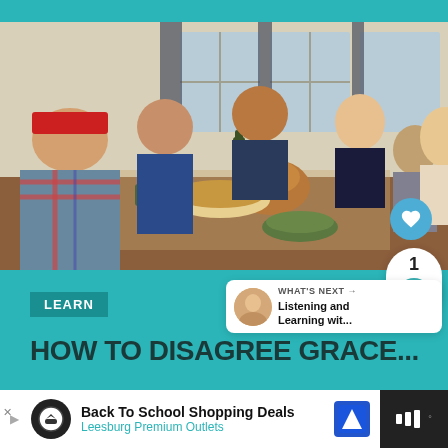[Figure (photo): Family gathered around a Thanksgiving dinner table, with a man in a red cap in the foreground, turkey and dishes on table, prayer scene]
LEARN
HOW TO DISAGREE GRACEL...
WHAT'S NEXT → Listening and Learning wit...
Back To School Shopping Deals
Leesburg Premium Outlets